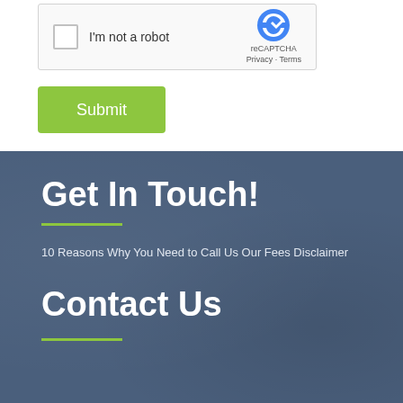[Figure (screenshot): reCAPTCHA widget with checkbox labeled 'I'm not a robot' and reCAPTCHA logo with Privacy and Terms links]
Submit
Get In Touch!
10 Reasons Why You Need to Call Us Our Fees Disclaimer
Contact Us